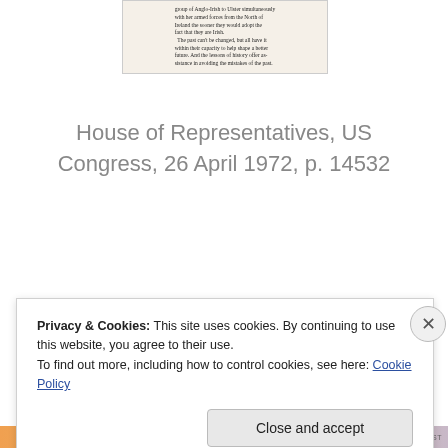[Figure (screenshot): Small cropped image of printed text from a historical document about Anglo-Irish matters]
House of Representatives, US Congress, 26 April 1972, p. 14532
Privacy & Cookies: This site uses cookies. By continuing to use this website, you agree to their use.
To find out more, including how to control cookies, see here: Cookie Policy